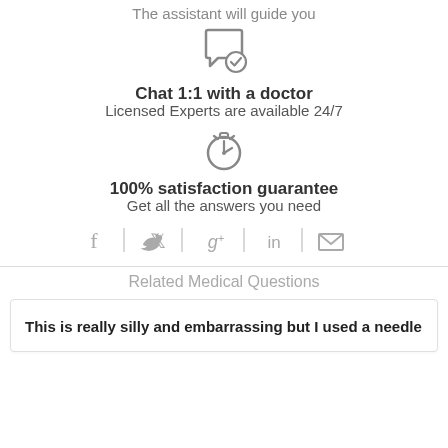The assistant will guide you
[Figure (illustration): Chat bubble with checkmark icon]
Chat 1:1 with a doctor
Licensed Experts are available 24/7
[Figure (illustration): Stopwatch/timer icon]
100% satisfaction guarantee
Get all the answers you need
[Figure (infographic): Social media share icons: Facebook, Twitter, Google+, LinkedIn, Email]
Related Medical Questions
This is really silly and embarrassing but I used a needle